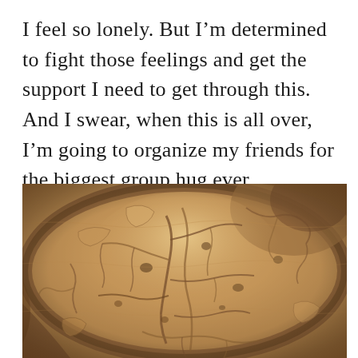I feel so lonely. But I'm determined to fight those feelings and get the support I need to get through this. And I swear, when this is all over, I'm going to organize my friends for the biggest group hug ever.
[Figure (photo): Close-up macro photograph of wood bark or wood surface showing intricate tunnel and groove patterns made by bark beetles, with warm brown and tan tones and detailed texture.]